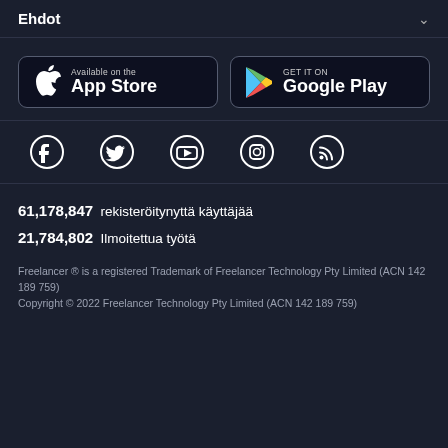Ehdot
[Figure (other): App Store and Google Play download buttons]
[Figure (other): Social media icons: Facebook, Twitter, YouTube, Instagram, RSS]
61,178,847  rekisteröitynyttä käyttäjää
21,784,802  Ilmoitettua työtä
Freelancer ® is a registered Trademark of Freelancer Technology Pty Limited (ACN 142 189 759)
Copyright © 2022 Freelancer Technology Pty Limited (ACN 142 189 759)